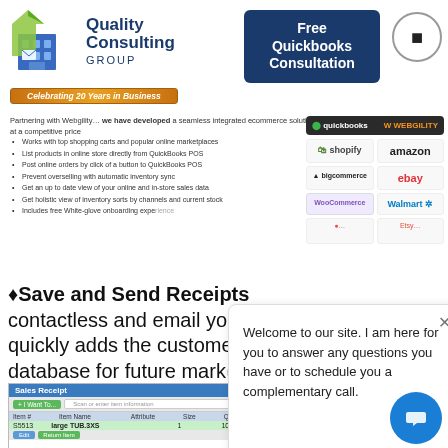[Figure (logo): Quality Consulting Group logo with blue building graphic and green arrow]
Free Quickbooks Consultation
Celebrating 20 Years in Business
Partnering with Webgility… we have developed a seamless integrated ecommerce solution at a competitive price
Works with top shopping carts and popular online marketplaces
List products in online store directly from QuickBooks POS
Post online orders by click of a button to QuickBooks POS
Prevent overselling with automatic inventory sync
Get an up to date view of your online and in-store sales data
Get holistic view of inventory sorts by channels and current stock
Includes free White-glove onboarding experience
[Figure (logo): Partner logos: QuickBooks, Webgility, Shopify, Amazon, BigCommerce, eBay, WooCommerce, Walmart]
♦Save and Send Receipts contactless and email your quickly adds the customer database for future marketing.
[Figure (screenshot): Sales Receipt QuickBooks POS screenshot showing item S5513 Large TUB.3XS]
Welcome to our site. I am here for you to answer any questions you have or to schedule you a complementary call.